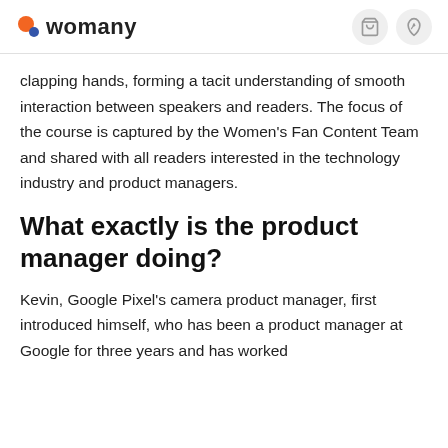womany
clapping hands, forming a tacit understanding of smooth interaction between speakers and readers. The focus of the course is captured by the Women's Fan Content Team and shared with all readers interested in the technology industry and product managers.
What exactly is the product manager doing?
Kevin, Google Pixel's camera product manager, first introduced himself, who has been a product manager at Google for three years and has worked